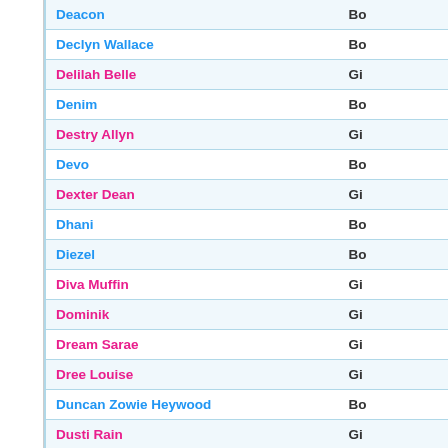| Name | Gender |
| --- | --- |
| Deacon | Boy |
| Declyn Wallace | Boy |
| Delilah Belle | Girl |
| Denim | Boy |
| Destry Allyn | Girl |
| Devo | Boy |
| Dexter Dean | Girl |
| Dhani | Boy |
| Diezel | Boy |
| Diva Muffin | Girl |
| Dominik | Girl |
| Dream Sarae | Girl |
| Dree Louise | Girl |
| Duncan Zowie Heywood | Boy |
| Dusti Rain | Girl |
| Dweezil | Boy |
| Dylan Frances | Girl |
| Elijah Bob Patricus Guggi Q | Boy |
| Eliot Pauline | Boy |